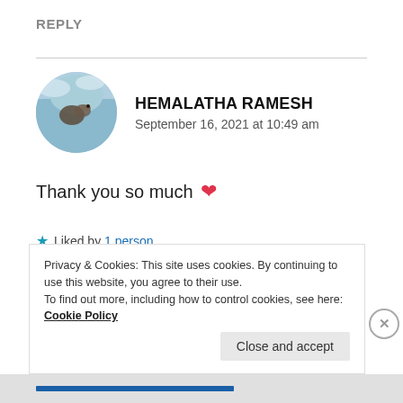REPLY
[Figure (photo): Circular avatar photo showing a bird against a blue sky background]
HEMALATHA RAMESH
September 16, 2021 at 10:49 am
Thank you so much ❤
★ Liked by 1 person
REPLY
Privacy & Cookies: This site uses cookies. By continuing to use this website, you agree to their use.
To find out more, including how to control cookies, see here: Cookie Policy
Close and accept